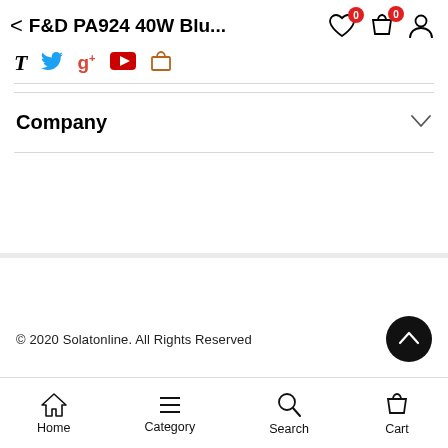F&D PA924 40W Blu...
Company
© 2020 Solatonline. All Rights Reserved
Home  Category  Search  Cart